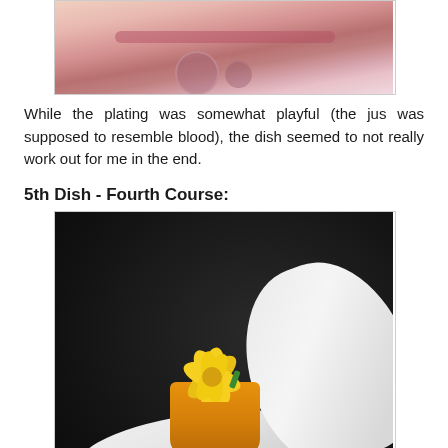[Figure (photo): Top portion of a food photo showing a dish with pink/red jus plating resembling blood, partially visible at top of page]
While the plating was somewhat playful (the jus was supposed to resemble blood), the dish seemed to not really work out for me in the end.
5th Dish - Fourth Course:
[Figure (photo): A blueberry mojito dish served in a small orange cup on a white spoon-shaped plate, garnished with a yellow flower, set against a dark background]
blueberry mojito
This was Mike Yen's take on a mojito. The flavor of blueberries really came through in addition to the kick in